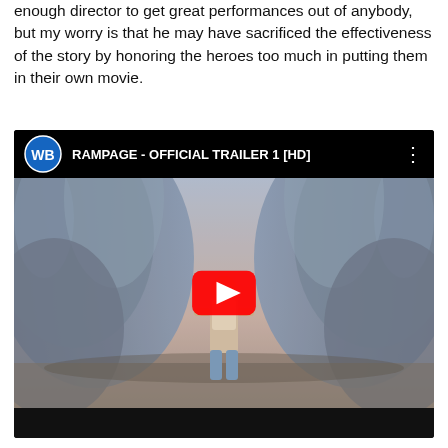enough director to get great performances out of anybody, but my worry is that he may have sacrificed the effectiveness of the story by honoring the heroes too much in putting them in their own movie.
[Figure (screenshot): YouTube video embed showing the Rampage Official Trailer 1 [HD] with Warner Bros. logo, a man standing between two giant furry creatures, and a red YouTube play button in the center.]